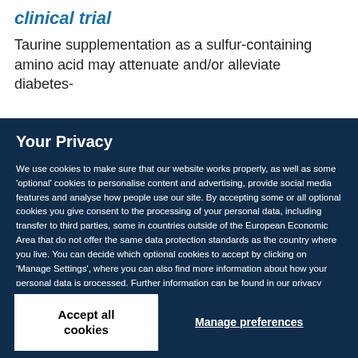clinical trial
Taurine supplementation as a sulfur-containing amino acid may attenuate and/or alleviate diabetes-
Your Privacy
We use cookies to make sure that our website works properly, as well as some ‘optional’ cookies to personalise content and advertising, provide social media features and analyse how people use our site. By accepting some or all optional cookies you give consent to the processing of your personal data, including transfer to third parties, some in countries outside of the European Economic Area that do not offer the same data protection standards as the country where you live. You can decide which optional cookies to accept by clicking on ‘Manage Settings’, where you can also find more information about how your personal data is processed. Further information can be found in our privacy policy.
Accept all cookies
Manage preferences